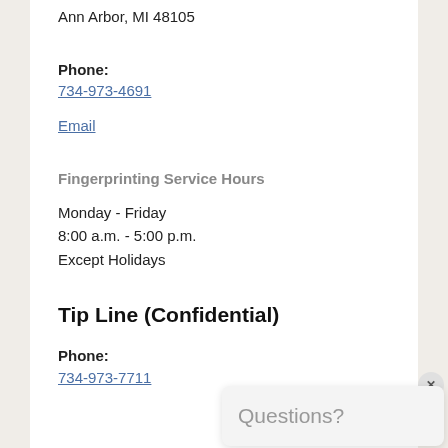Ann Arbor, MI 48105
Phone:
734-973-4691
Email
Fingerprinting Service Hours
Monday - Friday
8:00 a.m. - 5:00 p.m.
Except Holidays
Tip Line (Confidential)
Phone:
734-973-7711
[Figure (other): Questions? popup widget with close button and Washtenaw County Michigan seal (1826)]